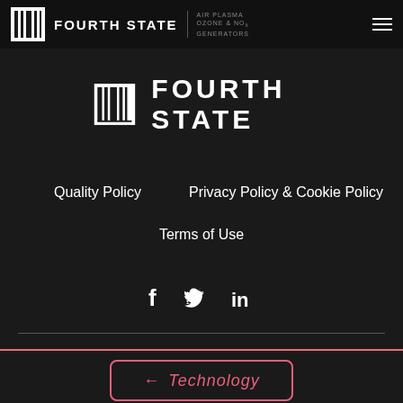[Figure (logo): Fourth State nav bar with logo (barcode-style icon), FOURTH STATE text, vertical divider, AIR PLASMA OZONE & NOx GENERATORS subtitle, and hamburger menu icon]
[Figure (logo): Fourth State center logo with large barcode-style icon and FOURTH STATE text]
Quality Policy
Privacy Policy & Cookie Policy
Terms of Use
[Figure (infographic): Social media icons: Facebook (f), Twitter (bird), LinkedIn (in)]
← Technology